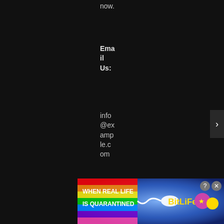now.
Email Us:
info@example.com
Contact:
+1-320-012
[Figure (screenshot): Mobile advertisement banner for BitLife game showing rainbow background, text 'WHEN REAL LIFE IS QUARANTINED' and BitLife logo with emoji characters]